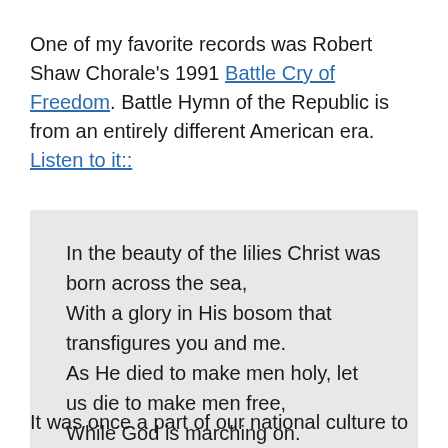One of my favorite records was Robert Shaw Chorale's 1991 Battle Cry of Freedom. Battle Hymn of the Republic is from an entirely different American era. Listen to it::
In the beauty of the lilies Christ was born across the sea,
With a glory in His bosom that transfigures you and me.
As He died to make men holy, let us die to make men free,
While God is marching on.
It was once a part of our national culture to